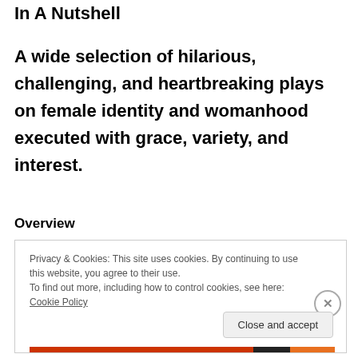In A Nutshell
A wide selection of hilarious, challenging, and heartbreaking plays on female identity and womanhood executed with grace, variety, and interest.
Overview
Privacy & Cookies: This site uses cookies. By continuing to use this website, you agree to their use.
To find out more, including how to control cookies, see here: Cookie Policy
Close and accept